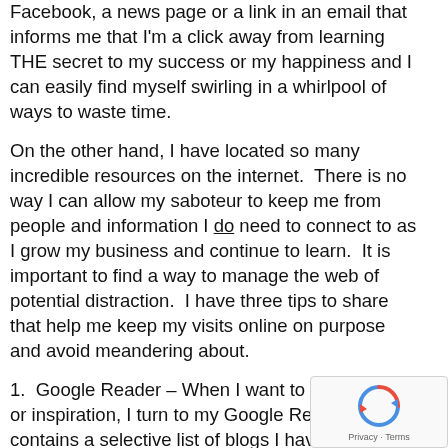Facebook, a news page or a link in an email that informs me that I'm a click away from learning THE secret to my success or my happiness and I can easily find myself swirling in a whirlpool of ways to waste time.
On the other hand, I have located so many incredible resources on the internet.  There is no way I can allow my saboteur to keep me from people and information I do need to connect to as I grow my business and continue to learn.  It is important to find a way to manage the web of potential distraction.  I have three tips to share that help me keep my visits online on purpose and avoid meandering about.
1.  Google Reader – When I want to find advice or inspiration, I turn to my Google Reader.  It contains a selective list of blogs I have found to be informative, well written and directed to either adding to my knowledge or motivating me.  It took a bit of time to assemble a balanced menu but it was well worth it.